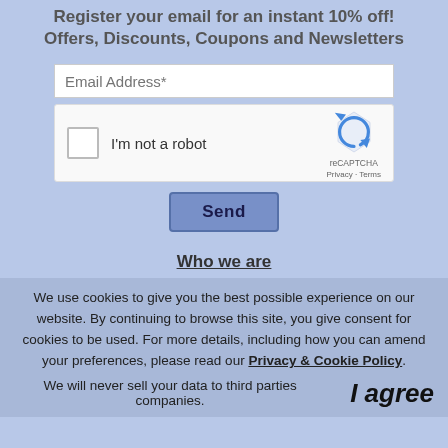Register your email for an instant 10% off! Offers, Discounts, Coupons and Newsletters
[Figure (screenshot): Email registration form with email address input field, reCAPTCHA widget ('I'm not a robot'), and a Send button]
Who we are
We use cookies to give you the best possible experience on our website. By continuing to browse this site, you give consent for cookies to be used. For more details, including how you can amend your preferences, please read our Privacy & Cookie Policy.
We will never sell your data to third parties companies.   I agree